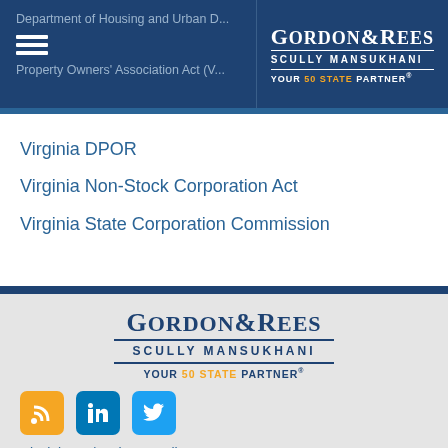Department of Housing and Urban D... | Property Owners' Association Act (V...
[Figure (logo): Gordon & Rees Scully Mansukhani - Your 50 State Partner logo in white on dark blue header]
Virginia DPOR
Virginia Non-Stock Corporation Act
Virginia State Corporation Commission
[Figure (logo): Gordon & Rees Scully Mansukhani - Your 50 State Partner logo in dark blue on light gray footer]
[Figure (other): Social media icons: RSS (orange), LinkedIn (blue), Twitter (light blue)]
Disclaimer | Privacy Policy